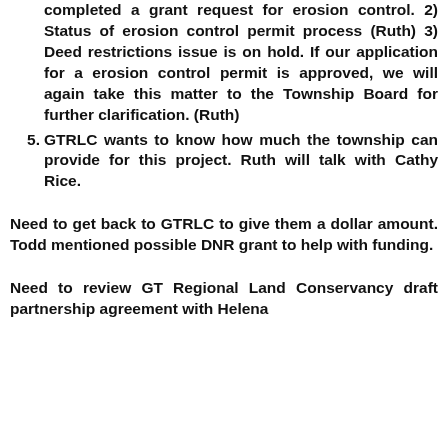completed a grant request for erosion control. 2) Status of erosion control permit process (Ruth) 3) Deed restrictions issue is on hold. If our application for a erosion control permit is approved, we will again take this matter to the Township Board for further clarification. (Ruth)
GTRLC wants to know how much the township can provide for this project. Ruth will talk with Cathy Rice.
Need to get back to GTRLC to give them a dollar amount. Todd mentioned possible DNR grant to help with funding.
Need to review GT Regional Land Conservancy draft partnership agreement with Helena